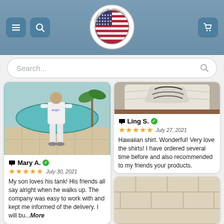[Figure (screenshot): Website header with hamburger menu icon, search icon, American flag circular logo for Shirtnation, and shopping cart icon on a blue-gray background]
Search...
[Figure (photo): Person standing by a pool wearing a white tank top and white pants with sandals]
💬 Mary A. ✓
★★★★★  July 30, 2021
My son loves his tank! His friends all say alright when he walks up. The company was easy to work with and kept me informed of the delivery. I will bu...More
[Figure (photo): Close-up of a folded white shirt with dark design on a wooden surface]
💬 Ling S. ✓
★★★★★  July 27, 2021
Hawaiian shirt. Wonderful! Very love the shirts! I have ordered several time before and also recommended to my friends your products.
[Figure (photo): Partial view of light beige tile floor]